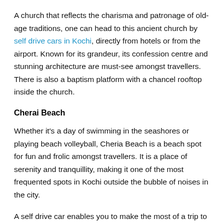A church that reflects the charisma and patronage of old-age traditions, one can head to this ancient church by self drive cars in Kochi, directly from hotels or from the airport. Known for its grandeur, its confession centre and stunning architecture are must-see amongst travellers. There is also a baptism platform with a chancel rooftop inside the church.
Cherai Beach
Whether it's a day of swimming in the seashores or playing beach volleyball, Cheria Beach is a beach spot for fun and frolic amongst travellers. It is a place of serenity and tranquillity, making it one of the most frequented spots in Kochi outside the bubble of noises in the city.
A self drive car enables you to make the most of a trip to enchanting Kochi. Get behind the wheel and enjoy the many